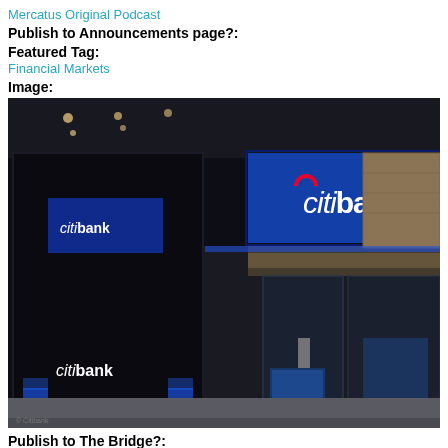Mercatus Original Podcast
Publish to Announcements page?:
Featured Tag:
Financial Markets
Image:
[Figure (photo): Exterior night photograph of a Citibank branch building with large illuminated blue Citibank sign above the entrance, glass doors and windows, and smaller Citibank logos visible inside the windows. The storefront is modern with dark framing and blue accent lighting.]
Publish to The Bridge?: